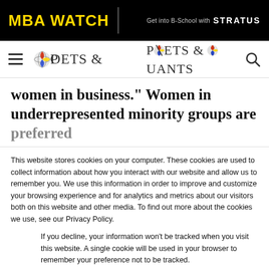MBA WATCH | Get into B-School with STRATUS
[Figure (logo): Poets & Quants logo with navigation bar showing hamburger menu and search icon]
women in business." Women in underrepresented minority groups are preferred
This website stores cookies on your computer. These cookies are used to collect information about how you interact with our website and allow us to remember you. We use this information in order to improve and customize your browsing experience and for analytics and metrics about our visitors both on this website and other media. To find out more about the cookies we use, see our Privacy Policy.
If you decline, your information won't be tracked when you visit this website. A single cookie will be used in your browser to remember your preference not to be tracked.
Accept | Decline